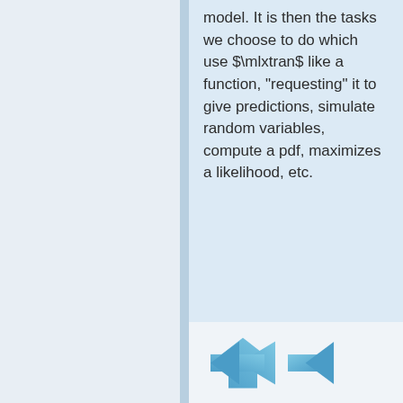model. It is then the tasks we choose to do which use $\mlxtran$ like a function, "requesting" it to give predictions, simulate random variables, compute a pdf, maximizes a likelihood, etc.
[Figure (other): Navigation arrows: a left-pointing blue arrow and a partially visible right-pointing blue arrow at the bottom of the panel]